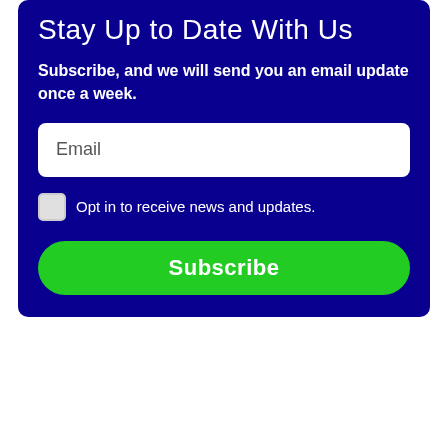Stay Up to Date With Us
Subscribe, and we will send you an email update once a week.
Email
Opt in to receive news and updates.
Subscribe